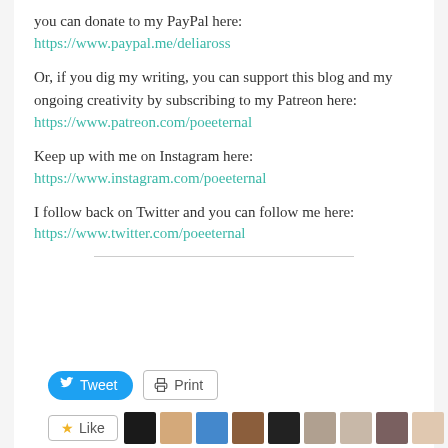you can donate to my PayPal here:
https://www.paypal.me/deliaross
Or, if you dig my writing, you can support this blog and my ongoing creativity by subscribing to my Patreon here:
https://www.patreon.com/poeeternal
Keep up with me on Instagram here:
https://www.instagram.com/poeeternal
I follow back on Twitter and you can follow me here:
https://www.twitter.com/poeeternal